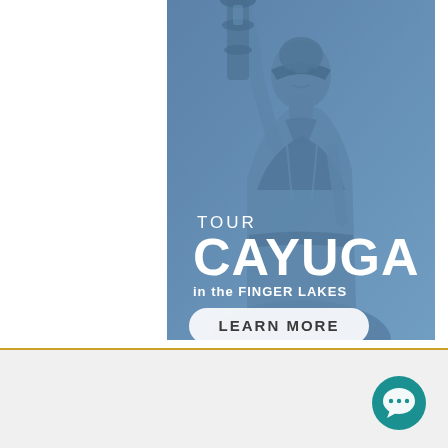[Figure (illustration): Advertisement banner for Tour Cayuga in the Finger Lakes. Blue-tinted image of a statue (figure holding a lamp/torch) serves as background. Text overlay reads: TOUR, CAYUGA, in the FINGER LAKES, with a LEARN MORE button at the bottom.]
[Figure (other): Teal circular chat button with three dots (...) in the lower right corner of the page.]